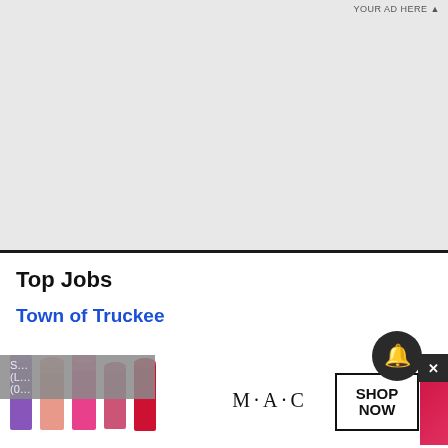[Figure (other): Gray advertisement placeholder area at top of page with 'YOUR AD HERE' label]
Top Jobs
Town of Truckee
[Figure (other): MAC cosmetics advertisement banner showing lipsticks in purple, pink, and red colors with MAC brand name and SHOP NOW button]
Home   Trending   Sections